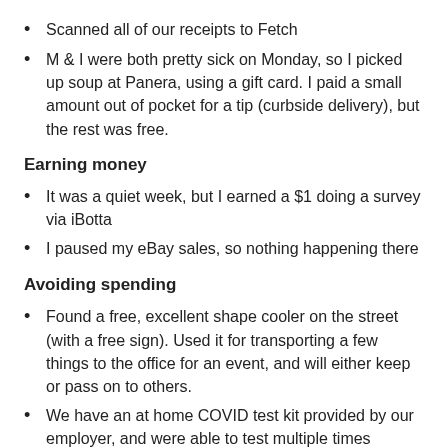Scanned all of our receipts to Fetch
M & I were both pretty sick on Monday, so I picked up soup at Panera, using a gift card. I paid a small amount out of pocket for a tip (curbside delivery), but the rest was free.
Earning money
It was a quiet week, but I earned a $1 doing a survey via iBotta
I paused my eBay sales, so nothing happening there
Avoiding spending
Found a free, excellent shape cooler on the street (with a free sign). Used it for transporting a few things to the office for an event, and will either keep or pass on to others.
We have an at home COVID test kit provided by our employer, and were able to test multiple times